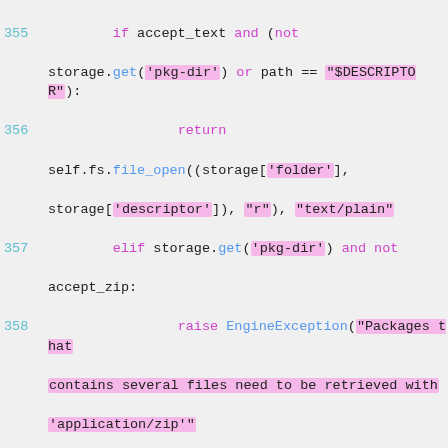[Figure (screenshot): Python source code snippet showing lines 355-366, with syntax highlighting. Code handles file retrieval logic with conditions for accept_text, pkg-dir, $DESCRIPTOR, accept_zip, and zipfile, raising EngineException with string messages highlighted in pink/magenta.]